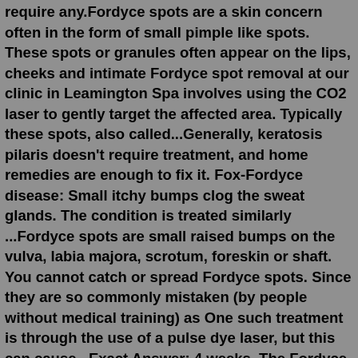require any.Fordyce spots are a skin concern often in the form of small pimple like spots. These spots or granules often appear on the lips, cheeks and intimate Fordyce spot removal at our clinic in Leamington Spa involves using the CO2 laser to gently target the affected area. Typically these spots, also called...Generally, keratosis pilaris doesn't require treatment, and home remedies are enough to fix it. Fox-Fordyce disease: Small itchy bumps clog the sweat glands. The condition is treated similarly ...Fordyce spots are small raised bumps on the vulva, labia majora, scrotum, foreskin or shaft. You cannot catch or spread Fordyce spots. Since they are so commonly mistaken (by people without medical training) as One such treatment is through the use of a pulse dye laser, but this can cause...Exact Answer: 4 weeks. The Fordyce spots happen in the lips and cheeks. These Fordyce spots are not very painful and would not cause harm. In the case of males, the Fordyce spots would occur on the penis. In women, the Fordyce spots would occur in the labia. The